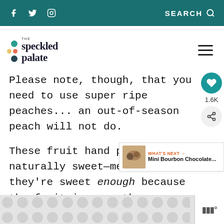f [twitter] [instagram] SEARCH
[Figure (logo): The Speckled Palate logo with colorful dots and text]
Please note, though, that you need to use super ripe peaches... an out-of-season peach will not do.
These fruit hand pies are naturally sweet—meaning they're sweet enough because the fruit is more than
[Figure (other): What's Next widget showing Mini Bourbon Chocolate... with thumbnail image]
[Figure (other): Advertisement banner with dot pattern background]